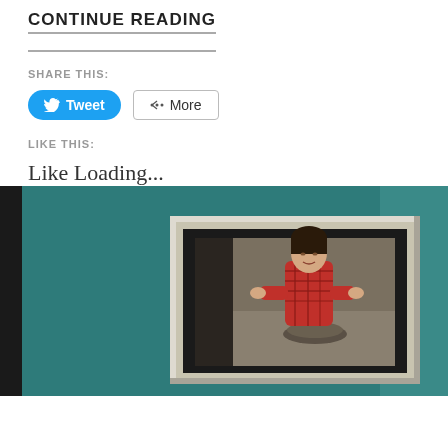CONTINUE READING
SHARE THIS:
Tweet  More
LIKE THIS:
Like Loading...
[Figure (photo): A framed picture hanging on a teal wall showing a woman in a red plaid shirt sitting at a table with a bowl, viewed from a low angle. The scene appears to be from a video game (The Sims).]